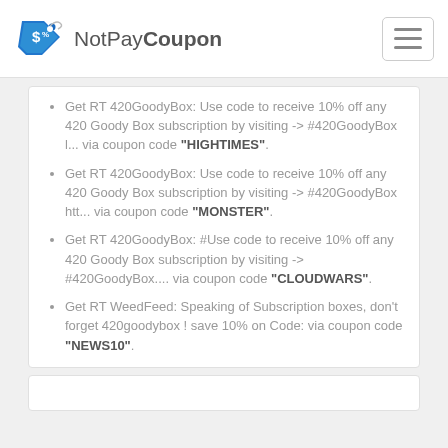NotPayCoupon
Get RT 420GoodyBox: Use code to receive 10% off any 420 Goody Box subscription by visiting -> #420GoodyBox l... via coupon code "HIGHTIMES".
Get RT 420GoodyBox: Use code to receive 10% off any 420 Goody Box subscription by visiting -> #420GoodyBox htt... via coupon code "MONSTER".
Get RT 420GoodyBox: #Use code to receive 10% off any 420 Goody Box subscription by visiting -> #420GoodyBox... via coupon code "CLOUDWARS".
Get RT WeedFeed: Speaking of Subscription boxes, don't forget 420goodybox ! save 10% on Code: via coupon code "NEWS10".